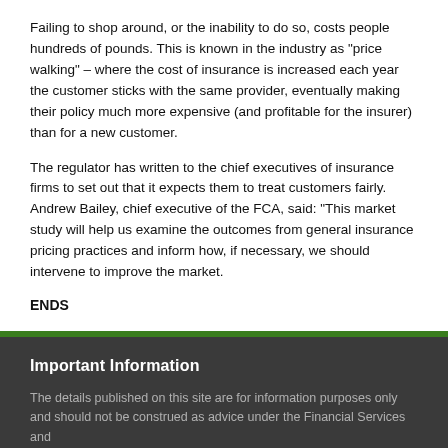Failing to shop around, or the inability to do so, costs people hundreds of pounds. This is known in the industry as "price walking" – where the cost of insurance is increased each year the customer sticks with the same provider, eventually making their policy much more expensive (and profitable for the insurer) than for a new customer.
The regulator has written to the chief executives of insurance firms to set out that it expects them to treat customers fairly. Andrew Bailey, chief executive of the FCA, said: "This market study will help us examine the outcomes from general insurance pricing practices and inform how, if necessary, we should intervene to improve the market.
ENDS
Important Information
The details published on this site are for information purposes only and should not be construed as advice under the Financial Services and